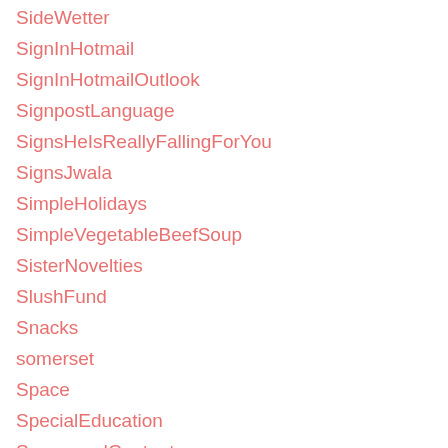SideWetter
SignInHotmail
SignInHotmailOutlook
SignpostLanguage
SignsHeIsReallyFallingForYou
SignsJwala
SimpleHolidays
SimpleVegetableBeefSoup
SisterNovelties
SlushFund
Snacks
somerset
Space
SpecialEducation
SponsoredContent